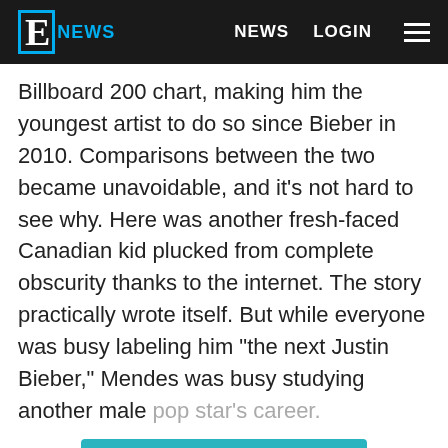E! NEWS   NEWS   LOGIN
Billboard 200 chart, making him the youngest artist to do so since Bieber in 2010. Comparisons between the two became unavoidable, and it's not hard to see why. Here was another fresh-faced Canadian kid plucked from complete obscurity thanks to the internet. The story practically wrote itself. But while everyone was busy labeling him "the next Justin Bieber," Mendes was busy studying another male pop star's career.
Continue Reading
Taboola Feed
[Figure (photo): Dark concert photo showing a performer on stage with green lighting]